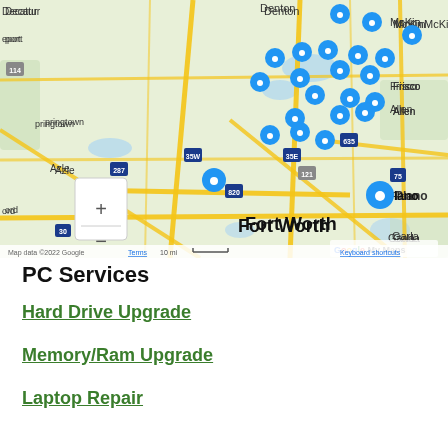[Figure (map): Google My Maps showing the Dallas-Fort Worth metro area with multiple blue location pin markers clustered around Dallas, Fort Worth, Denton, Lewisville, Irving, and surrounding cities. Map shows roads, highways (35W, 35E, 287, 820, 635, 121, 75), city labels including Fort Worth, Dallas, Plano, Frisco, Garland, Allen, Lewisville, Southlake, Azle, Irving, McKinney. Map data ©2022 Google. Includes zoom controls (+/-) in upper left.]
PC Services
Hard Drive Upgrade
Memory/Ram Upgrade
Laptop Repair